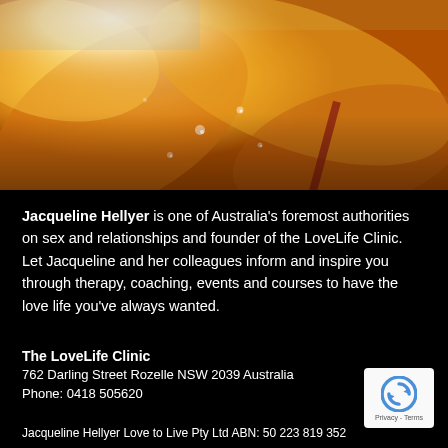[Figure (photo): Close-up photo of orange/golden flower petals with water droplets, with a blurred bright light in the upper portion]
Jacqueline Hellyer is one of Australia's foremost authorities on sex and relationships and founder of the LoveLife Clinic. Let Jacqueline and her colleagues inform and inspire you through therapy, coaching, events and courses to have the love life you've always wanted.
The LoveLife Clinic
762 Darling Street Rozelle NSW 2039 Australia
Phone: 0418 505620
Jacqueline Hellyer Love to Live Pty Ltd ABN: 50 223 819 352